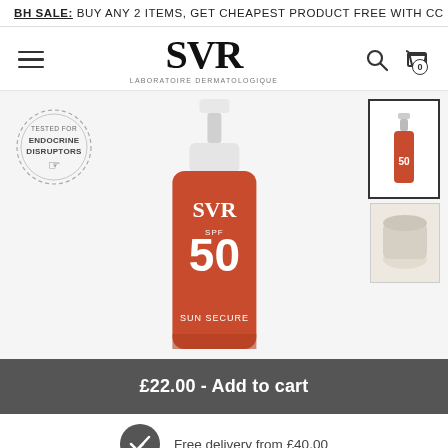BH SALE: BUY ANY 2 ITEMS, GET CHEAPEST PRODUCT FREE WITH CC
[Figure (logo): SVR Laboratoire Dermatologique logo with hamburger menu icon on left and search/cart icons on right]
[Figure (photo): SVR Sun Secure SPF 50 spray bottle product shot on light grey background, with endocrine disruptors badge on left and product thumbnail on right]
£22.00 - Add to cart
Free delivery from £40,00